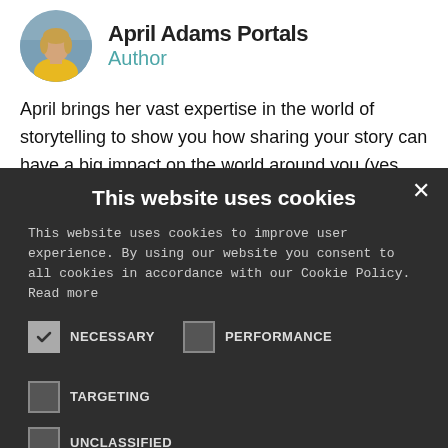[Figure (photo): Circular avatar photo of April Adams Portals, a woman in a yellow top, with a blue/grey background]
April Adams Portals
Author
April brings her vast expertise in the world of storytelling to show you how sharing your story can have a big impact on the world around you (yes, even in business!) A former TV
This website uses cookies
This website uses cookies to improve user experience. By using our website you consent to all cookies in accordance with our Cookie Policy. Read more
NECESSARY (checked)
PERFORMANCE (unchecked)
TARGETING (unchecked)
UNCLASSIFIED (unchecked)
ACCEPT ALL
DECLINE ALL
SHOW DETAILS
POWERED BY COOKIE-SCRIPT